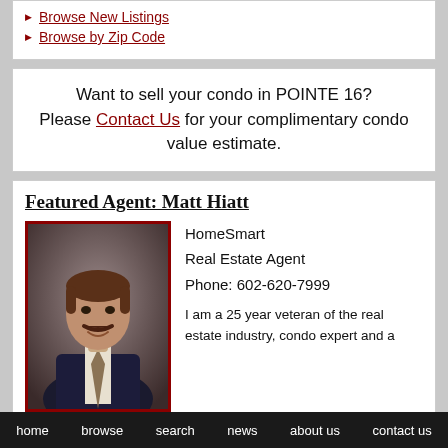Browse New Listings
Browse by Zip Code
Want to sell your condo in POINTE 16? Please Contact Us for your complimentary condo value estimate.
Featured Agent: Matt Hiatt
[Figure (photo): Headshot of Matt Hiatt, a middle-aged man with brown hair and a mustache, wearing a dark suit and tie, against a gray textured background.]
HomeSmart
Real Estate Agent
Phone: 602-620-7999

I am a 25 year veteran of the real estate industry, condo expert and a
home   browse   search   news   about us   contact us